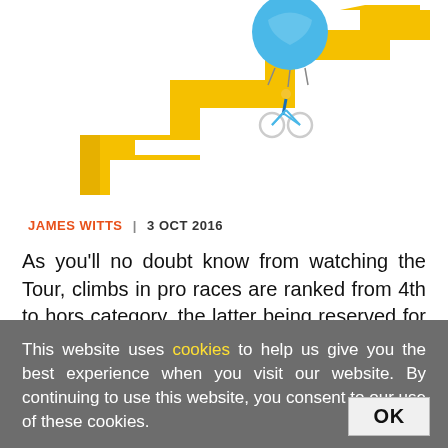[Figure (illustration): Cyclist on a road bike lifted by a blue hot-air balloon riding up a yellow zigzag staircase-shaped path with a white arrow pointing right, on white background]
JAMES WITTS | 3 OCT 2016
As you'll no doubt know from watching the Tour, climbs in pro races are ranked from 4th to hors category, the latter being reserved for only the
This website uses cookies to help us give you the best experience when you visit our website. By continuing to use this website, you consent to our use of these cookies.